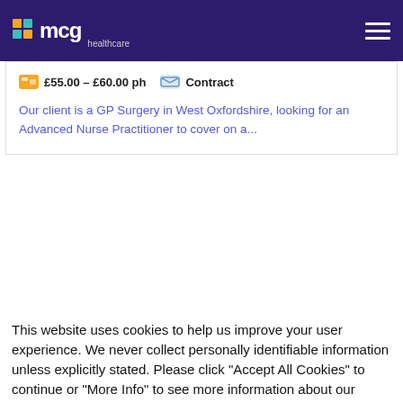mcg healthcare
£55.00 – £60.00 ph   Contract
Our client is a GP Surgery in West Oxfordshire, looking for an Advanced Nurse Practitioner to cover on a...
This website uses cookies to help us improve your user experience. We never collect personally identifiable information unless explicitly stated. Please click "Accept All Cookies" to continue or "More Info" to see more information about our usage of cookies. You can also read our Cookie Policy here.
By using this website, you agree to our use of cookies. We use cookies to provide you with a great experience and to help our website run effectively.